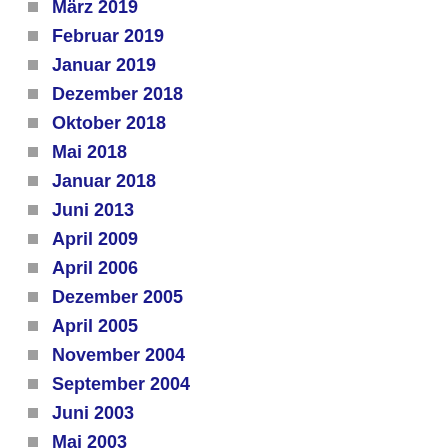März 2019
Februar 2019
Januar 2019
Dezember 2018
Oktober 2018
Mai 2018
Januar 2018
Juni 2013
April 2009
April 2006
Dezember 2005
April 2005
November 2004
September 2004
Juni 2003
Mai 2003
Juli 2001
Juni 2000
Juni 1996
Juni 1992